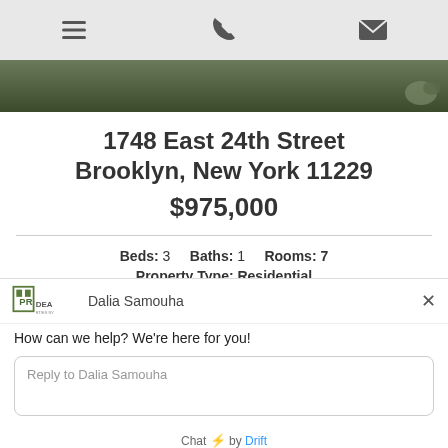Navigation bar with menu, phone, and email icons
[Figure (photo): Top portion of outdoor property photo showing trees and pavement]
1748 East 24th Street Brooklyn, New York 11229
$975,000
Beds: 3   Baths: 1   Rooms: 7
Property Type: Residential
[Figure (logo): PR Idea Properties NY logo]
Dalia Samouha
How can we help? We're here for you!
Reply to Dalia Samouha
Chat ⚡ by Drift